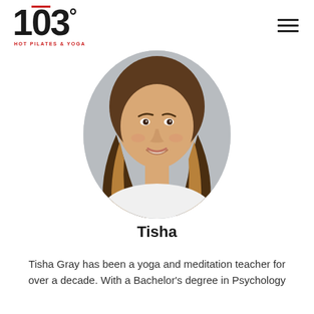[Figure (logo): 103° Hot Pilates & Yoga logo with stylized numerals and red overline on the zero, with red subtitle text 'HOT PILATES & YOGA']
[Figure (photo): Oval portrait photo of Tisha, a young woman with long brown highlighted hair, smiling, wearing a white top, gray background]
Tisha
Tisha Gray has been a yoga and meditation teacher for over a decade. With a Bachelor's degree in Psychology